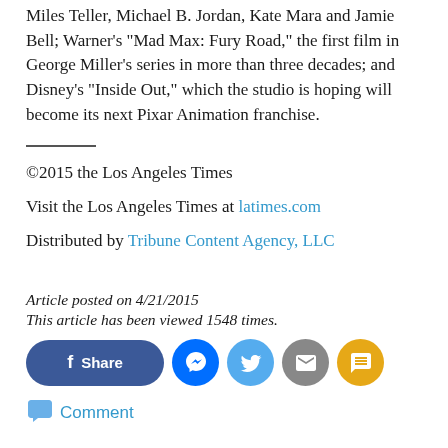Miles Teller, Michael B. Jordan, Kate Mara and Jamie Bell; Warner's "Mad Max: Fury Road," the first film in George Miller's series in more than three decades; and Disney's "Inside Out," which the studio is hoping will become its next Pixar Animation franchise.
©2015 the Los Angeles Times
Visit the Los Angeles Times at latimes.com
Distributed by Tribune Content Agency, LLC
Article posted on 4/21/2015
This article has been viewed 1548 times.